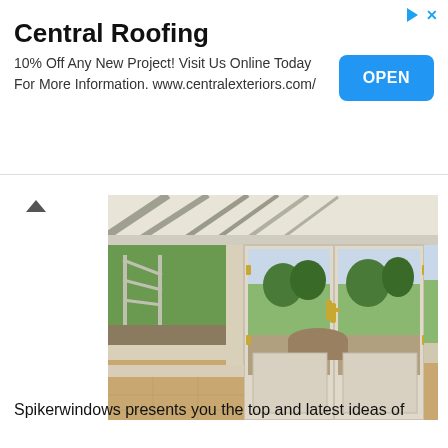Central Roofing
10% Off Any New Project! Visit Us Online Today For More Information. www.centralexteriors.com/
[Figure (photo): Interior of a conservatory or sunroom showing cream/white-painted bi-fold or French doors opening onto a garden patio. Large glass windows on the left side reveal a children's climbing frame in a green lawn. Tile flooring visible inside, with a raised garden bed and seating area outside.]
Spikerwindows presents you the top and latest ideas of